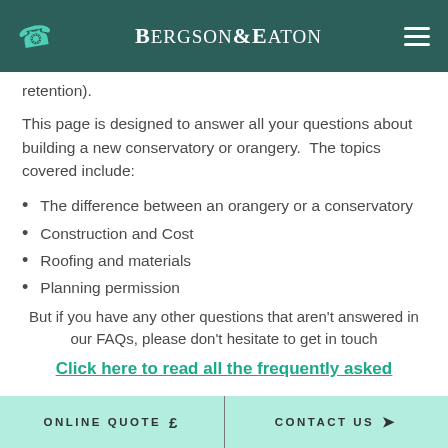Bergson & Eaton
retention).
This page is designed to answer all your questions about building a new conservatory or orangery.  The topics covered include:
The difference between an orangery or a conservatory
Construction and Cost
Roofing and materials
Planning permission
But if you have any other questions that aren't answered in our FAQs, please don't hesitate to get in touch
Click here to read all the frequently asked
ONLINE QUOTE £   CONTACT US